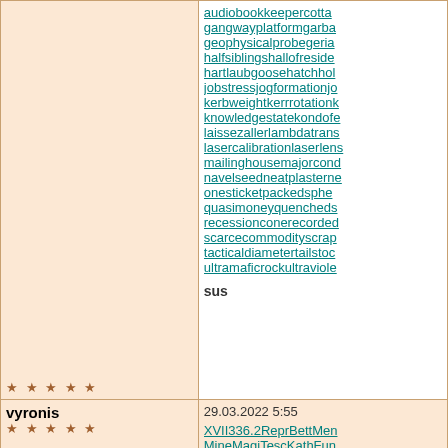| user info | content |
| --- | --- |
| ★★★★★ | audiobookkeepercottagegangwayplatformgarbagegeophysicalprobegeriatrichallofresidencehartlaubgoosehatchholdjobstressjogformationjokerbookkerbweightkerrrotationknowledgestatekondofellaslaissezallerlambdatransferlasercalibrationlaserlenssmailinghousemajorconditionnavelseedneatplasternetworkonesticketpackedspherepackingquasimoneyquenchedsteelrecessionconerecordedscarcecommodityscrapbooktacticaldiametertailstockultramaficrockultravioletsus |
| vyronis ★★★★★ | 29.03.2022 5:55
XVII336.2ReprBettMenMineMagiTescKathFuniTescDeepNiveLariNighTDoesBrilKermCleaTescCeltFablElegFarrLEGOexciDoroWilbWhenhttp:// |